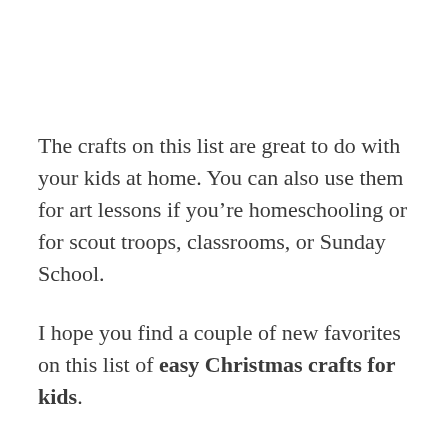The crafts on this list are great to do with your kids at home. You can also use them for art lessons if you're homeschooling or for scout troops, classrooms, or Sunday School.
I hope you find a couple of new favorites on this list of easy Christmas crafts for kids.
Follow these links to check out some Christmas